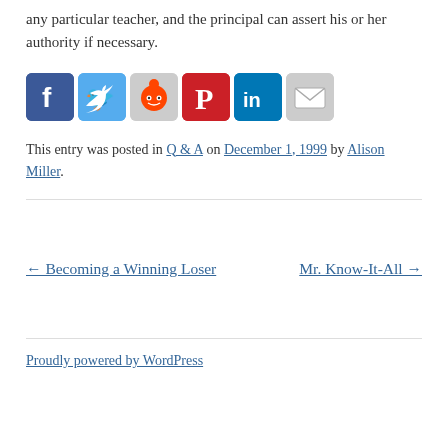any particular teacher, and the principal can assert his or her authority if necessary.
[Figure (infographic): Social sharing icons: Facebook, Twitter, Reddit, Pinterest, LinkedIn, Email]
This entry was posted in Q & A on December 1, 1999 by Alison Miller.
← Becoming a Winning Loser     Mr. Know-It-All →
Proudly powered by WordPress